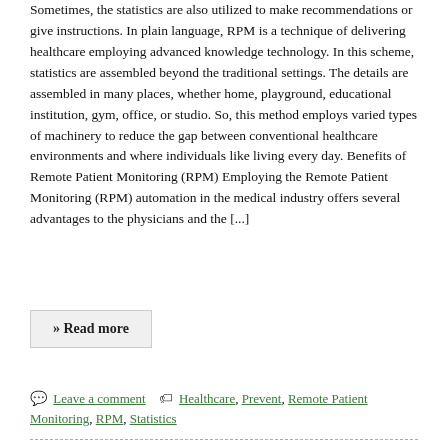Sometimes, the statistics are also utilized to make recommendations or give instructions. In plain language, RPM is a technique of delivering healthcare employing advanced knowledge technology. In this scheme, statistics are assembled beyond the traditional settings. The details are assembled in many places, whether home, playground, educational institution, gym, office, or studio. So, this method employs varied types of machinery to reduce the gap between conventional healthcare environments and where individuals like living every day. Benefits of Remote Patient Monitoring (RPM) Employing the Remote Patient Monitoring (RPM) automation in the medical industry offers several advantages to the physicians and the [...]
» Read more
Leave a comment  Healthcare, Prevent, Remote Patient Monitoring, RPM, Statistics